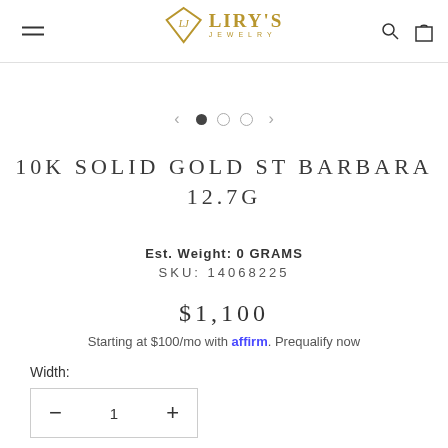Liry's Jewelry
[Figure (other): Carousel navigation with left arrow, three dots (first filled), and right arrow]
10K SOLID GOLD ST BARBARA 12.7G
Est. Weight: 0 GRAMS
SKU: 14068225
$1,100
Starting at $100/mo with affirm. Prequalify now
Width:
1